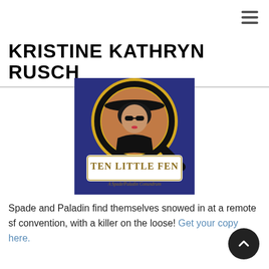≡
KRISTINE KATHRYN RUSCH
[Figure (illustration): Book cover for 'Ten Little Fen: A Spade/Paladin Conundrum' showing a stylized woman in a black hat with a magnifying glass motif on a gold and navy background]
Spade and Paladin find themselves snowed in at a remote sf convention, with a killer on the loose! Get your copy here.